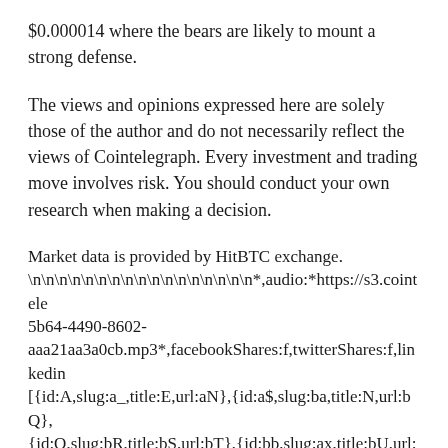$0.000014 where the bears are likely to mount a strong defense.
The views and opinions expressed here are solely those of the author and do not necessarily reflect the views of Cointelegraph. Every investment and trading move involves risk. You should conduct your own research when making a decision.
Market data is provided by HitBTC exchange.
\n\n\n\n\n\n\n\n\n\n\n\n\n\n\n\n*,audio:*https://s3.cointel... 5b64-4490-8602-aaa21aa3a0cb.mp3*,facebookShares:f,twitterShares:f,linkedin... [{id:A,slug:a_,title:E,url:aN},{id:a$,slug:ba,title:N,url:bQ},{id:O,slug:bR,title:bS,url:bT},{id:bb,slug:ax,title:bU,url:aO},{id:bV,slug:bc,title:F,url:aP},{id:bW,slug:bX,title:bY,url:bZ},{id:b_,slug:b$,title:P,url:ca},{id:cb,slug:cc,title:bd,url:cd},{id:ce,slug:cf,title:cg,url:ch},{id:ci,slug:be,title:Q,url:cj},